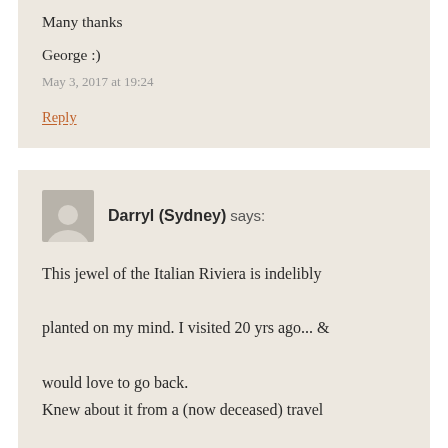Many thanks
George :)
May 3, 2017 at 19:24
Reply
Darryl (Sydney) says:
This jewel of the Italian Riviera is indelibly planted on my mind. I visited 20 yrs ago... & would love to go back. Knew about it from a (now deceased) travel agent friend.... who recommended staying